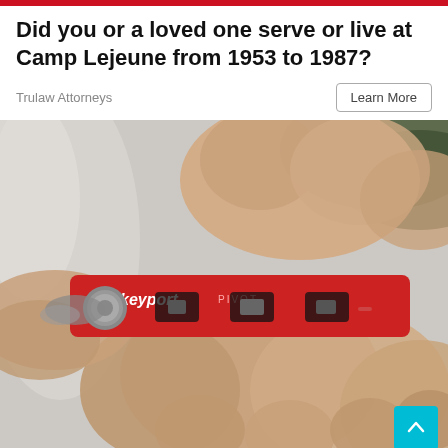Did you or a loved one serve or live at Camp Lejeune from 1953 to 1987?
Trulaw Attorneys
Learn More
[Figure (photo): Close-up photograph of a hand holding a red Keyport PIVOT key organizer tool. The red aluminum device has multiple key slots and metallic hardware visible. The background is blurred with green and grey tones.]